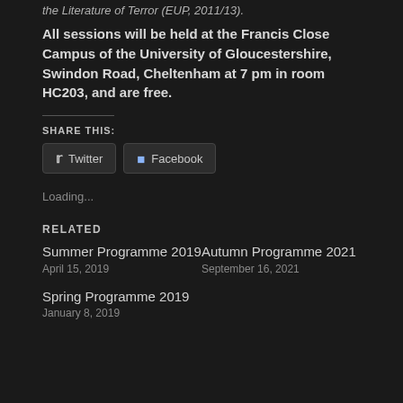the Literature of Terror (EUP, 2011/13).
All sessions will be held at the Francis Close Campus of the University of Gloucestershire, Swindon Road, Cheltenham at 7 pm in room HC203, and are free.
SHARE THIS:
[Figure (other): Twitter and Facebook share buttons]
Loading...
RELATED
Summer Programme 2019
April 15, 2019
Autumn Programme 2021
September 16, 2021
Spring Programme 2019